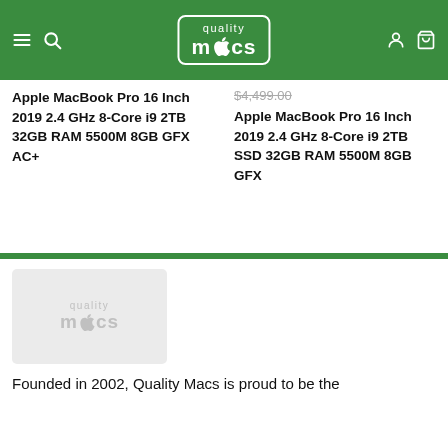Quality Macs - navigation header with logo, hamburger menu, search, account, and cart icons
Apple MacBook Pro 16 Inch 2019 2.4 GHz 8-Core i9 2TB 32GB RAM 5500M 8GB GFX AC+
$4,499.00 (strikethrough) Apple MacBook Pro 16 Inch 2019 2.4 GHz 8-Core i9 2TB SSD 32GB RAM 5500M 8GB GFX
[Figure (logo): Quality Macs logo in light gray on light gray background in footer area]
Founded in 2002, Quality Macs is proud to be the